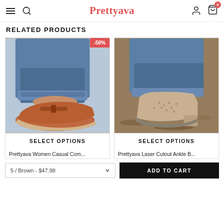Prettyava — navigation header with hamburger, search, logo, user, and cart icons
RELATED PRODUCTS
[Figure (photo): Photo of women's casual terracotta/brown slip-on shoe with buckle strap, worn with rolled denim jeans. -50% discount badge in top right corner.]
SELECT OPTIONS
Prettyava Women Casual Com...
[Figure (photo): Photo of women's beige/taupe laser cutout ankle boots with block heel, worn with rolled denim jeans.]
SELECT OPTIONS
Prettyava Laser Cutout Ankle B...
5 / Brown - $47.98
ADD TO CART